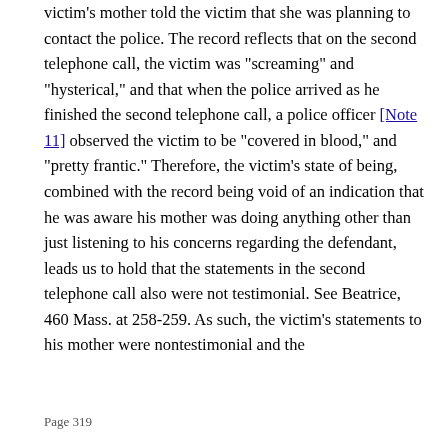victim's mother told the victim that she was planning to contact the police. The record reflects that on the second telephone call, the victim was "screaming" and "hysterical," and that when the police arrived as he finished the second telephone call, a police officer [Note 11] observed the victim to be "covered in blood," and "pretty frantic." Therefore, the victim's state of being, combined with the record being void of an indication that he was aware his mother was doing anything other than just listening to his concerns regarding the defendant, leads us to hold that the statements in the second telephone call also were not testimonial. See Beatrice, 460 Mass. at 258-259. As such, the victim's statements to his mother were nontestimonial and the
Page 319